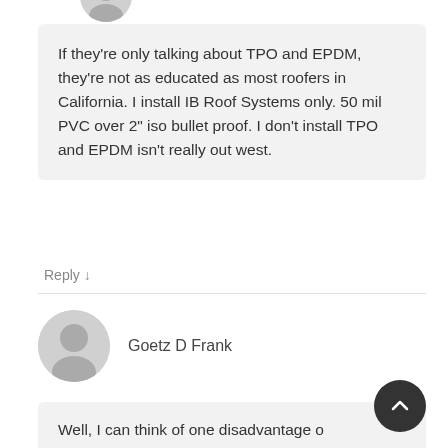[Figure (illustration): Partial avatar circle at top of page (user profile image, gray circle with person silhouette)]
If they're only talking about TPO and EPDM, they're not as educated as most roofers in California. I install IB Roof Systems only. 50 mil PVC over 2" iso bullet proof. I don't install TPO and EPDM isn't really out west.
Reply ↓
[Figure (illustration): Gray circular avatar with generic person silhouette for user Goetz D Frank]
Goetz D Frank
Well, I can think of one disadvantage of PVC: When it burns it forms dioxins. They